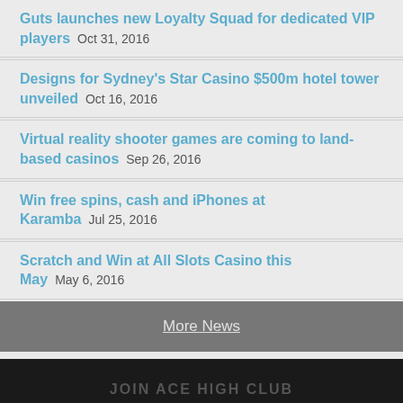Guts launches new Loyalty Squad for dedicated VIP players  Oct 31, 2016
Designs for Sydney's Star Casino $500m hotel tower unveiled  Oct 16, 2016
Virtual reality shooter games are coming to land-based casinos  Sep 26, 2016
Win free spins, cash and iPhones at Karamba  Jul 25, 2016
Scratch and Win at All Slots Casino this May  May 6, 2016
More News
JOIN ACE HIGH CLUB